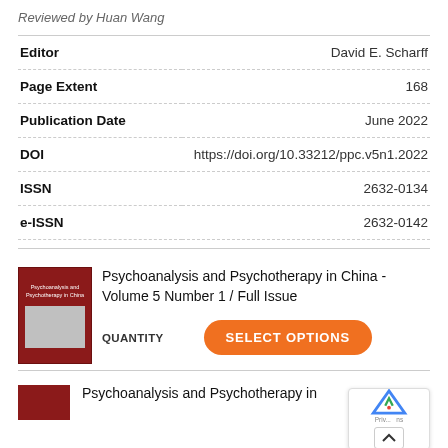Reviewed by Huan Wang
| Field | Value |
| --- | --- |
| Editor | David E. Scharff |
| Page Extent | 168 |
| Publication Date | June 2022 |
| DOI | https://doi.org/10.33212/ppc.v5n1.2022 |
| ISSN | 2632-0134 |
| e-ISSN | 2632-0142 |
[Figure (photo): Book cover of Psychoanalysis and Psychotherapy in China, red cover with image of two faces]
Psychoanalysis and Psychotherapy in China - Volume 5 Number 1 / Full Issue
QUANTITY
SELECT OPTIONS
[Figure (photo): Partial book cover of Psychoanalysis and Psychotherapy in China at bottom of page]
Psychoanalysis and Psychotherapy in